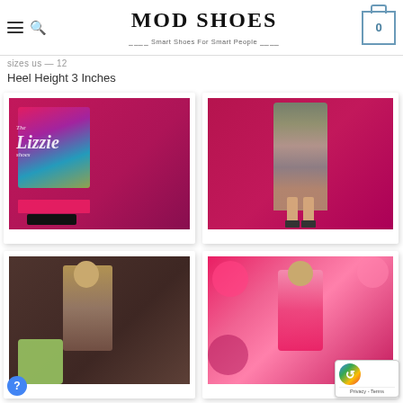MOD SHOES — Smart Shoes For Smart People
Sizes US — 12
Heel Height 3 Inches
[Figure (photo): Woman in colorful retro outfit seated on pink background, with 'The Lizzie Shoes' text overlay]
[Figure (photo): Woman in grey plaid mod dress on pink/magenta background, posing]
[Figure (photo): Woman in floral dress seated on yellow chair, brown background]
[Figure (photo): Woman in pink outfit against colorful floral background]